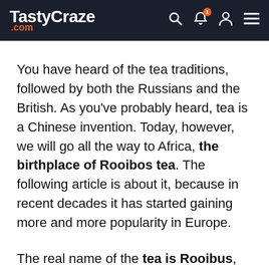TastyCraze .com
You have heard of the tea traditions, followed by both the Russians and the British. As you've probably heard, tea is a Chinese invention. Today, however, we will go all the way to Africa, the birthplace of Rooibos tea. The following article is about it, because in recent decades it has started gaining more and more popularity in Europe.
The real name of the tea is Rooibus, which is why you can find it not only as Rooibos but also as Rooibos. In any case, this is the name of the plant that the Africans dried and used to make a hot drink with